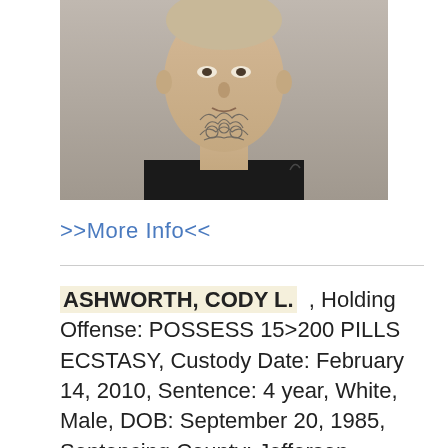[Figure (photo): Mugshot photo of a young white male wearing a black tank top with a large tattoo on his neck and a smaller tattoo on his right arm, photographed against a plain background.]
>>More Info<<
ASHWORTH, CODY L. , Holding Offense: POSSESS 15>200 PILLS ECSTASY, Custody Date: February 14, 2010, Sentence: 4 year, White, Male, DOB: September 20, 1985, Sentencing County: Jefferson, Prison: Jacksonville CC, Projected Release : January 10, 2013